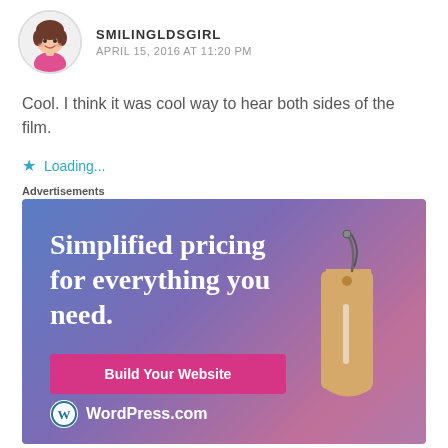[Figure (illustration): Avatar of a cartoon girl with brown hair wearing a pink outfit, circular profile picture]
SMILINGLDSGIRL
APRIL 15, 2016 AT 11:20 PM
Cool. I think it was cool way to hear both sides of the film.
Loading...
Advertisements
[Figure (screenshot): WordPress.com advertisement banner with blue-purple gradient background. Text: 'Simplified pricing for everything you need.' Button: 'Build Your Website'. Price tag illustration on right. WordPress.com logo at bottom left.]